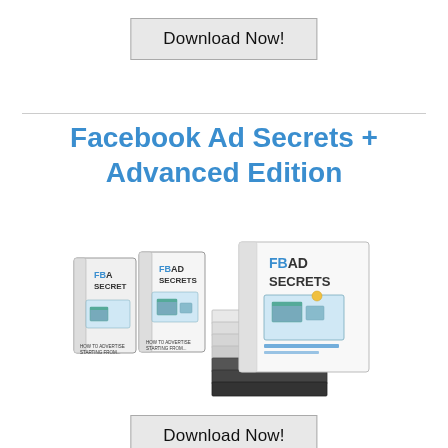Download Now!
Facebook Ad Secrets + Advanced Edition
[Figure (illustration): Product bundle image showing FB Ad Secrets DVD cases and book/manual stack with 'FBAD SECRETS' branding]
Download Now!